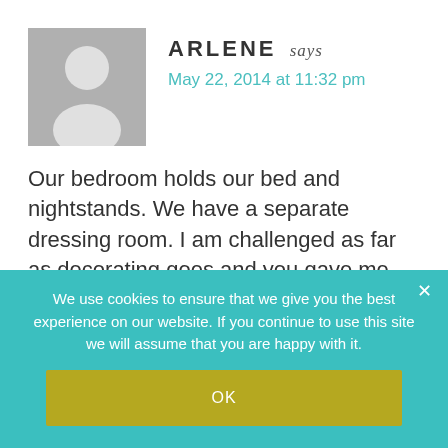[Figure (illustration): Generic grey avatar silhouette with circular head and rounded shoulders on a grey background rectangle]
ARLENE says
May 22, 2014 at 11:32 pm
Our bedroom holds our bed and nightstands. We have a separate dressing room. I am challenged as far as decorating goes and you gave me great ideas to make it our ‘sanctuary’. Thanks so much!
We use cookies to ensure that we give you the best experience on our website. If you continue to use this site we will assume that you are happy with it.
OK